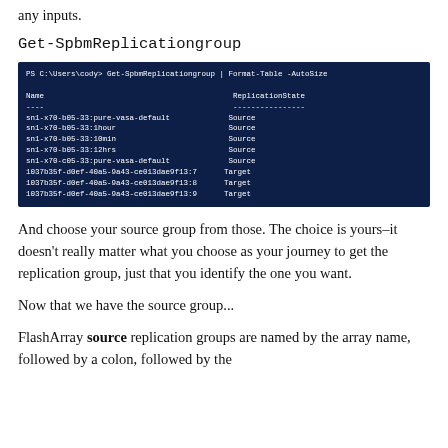any inputs.
Get-SpbmReplicationgroup
[Figure (screenshot): PowerShell terminal screenshot showing: PS C:\Users\cody> Get-SpbmReplicationgroup | Format-Table -AutoSize. Table with Name and ReplicationState columns. Rows: sn1-x70-b05-33:pure-vasa-default Source, sn1-x70-b05-33:1hour Source, sn1-x70-b05-33:10min Source, sn1-x70-b05-33:12hrs Source, sn1-x70-c05-33:pure-vasa-default Source, 1037b35f-d0ef-40a5-9a43-ce013dae9f13:7 Target, 1037b35f-d0ef-40a5-9a43-ce013dae9f13:8 Target, 1037b35f-d0ef-40a5-9a43-ce013dae9f13:9 Target]
And choose your source group from those. The choice is yours–it doesn't really matter what you choose as your journey to get the replication group, just that you identify the one you want.
Now that we have the source group...
FlashArray source replication groups are named by the array name, followed by a colon, followed by the